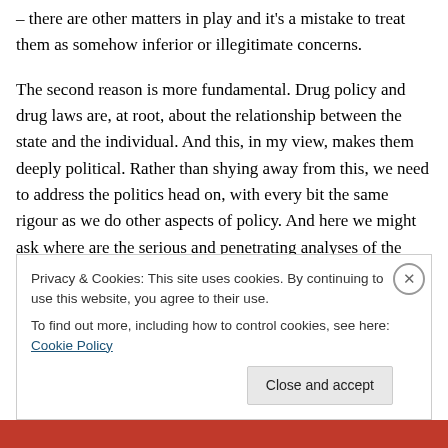– there are other matters in play and it's a mistake to treat them as somehow inferior or illegitimate concerns.

The second reason is more fundamental. Drug policy and drug laws are, at root, about the relationship between the state and the individual. And this, in my view, makes them deeply political. Rather than shying away from this, we need to address the politics head on, with every bit the same rigour as we do other aspects of policy. And here we might ask where are the serious and penetrating analyses of the profound questions of power, authority and rights that underpin and run through drug policy? It's a
Privacy & Cookies: This site uses cookies. By continuing to use this website, you agree to their use.
To find out more, including how to control cookies, see here: Cookie Policy